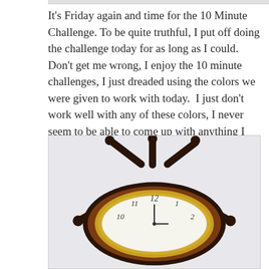It's Friday again and time for the 10 Minute Challenge. To be quite truthful, I put off doing the challenge today for as long as I could.  Don't get me wrong, I enjoy the 10 minute challenges, I just dreaded using the colors we were given to work with today.  I just don't work well with any of these colors, I never seem to be able to come up with anything I like with them.  It was the challenge though, so . . . .
[Figure (photo): A ship's wheel style clock with a dark brown/mahogany wooden wheel frame and gold bezel, showing a white clock face with numbers 10, 11, 12, 1, 2 visible, set against a light grey background.]